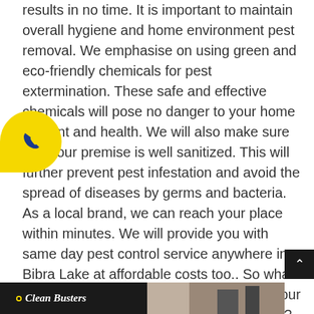results in no time. It is important to maintain overall hygiene and home environment pest removal. We emphasise on using green and eco-friendly chemicals for pest extermination. These safe and effective chemicals will pose no danger to your home environment and health. We will also make sure that your premise is well sanitized. This will further prevent pest infestation and avoid the spread of diseases by germs and bacteria. As a local brand, we can reach your place within minutes. We will provide you with same day pest control service anywhere in Bibra Lake at affordable costs too.. So what are you waiting for call us today and get your homes and offices pest free professionally?
[Figure (other): Yellow phone call button widget with blue phone icon, teardrop/blob shape]
[Figure (other): Dark scroll-to-top button with upward chevron arrow on the right side]
[Figure (logo): Clean Busters logo on black banner at bottom left, with crescent moon and circle icon]
[Figure (photo): Partial image visible at the bottom right of the page, appears to show cleaning or pest control activity]